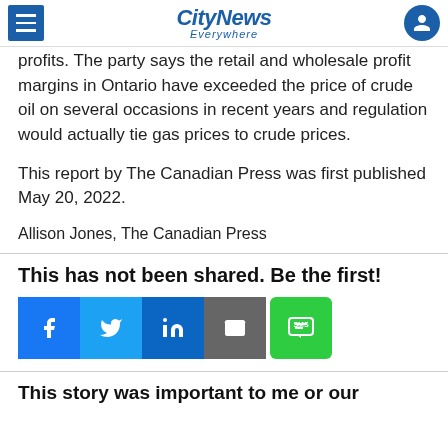CityNews Everywhere
profits. The party says the retail and wholesale profit margins in Ontario have exceeded the price of crude oil on several occasions in recent years and regulation would actually tie gas prices to crude prices.
This report by The Canadian Press was first published May 20, 2022.
Allison Jones, The Canadian Press
This has not been shared. Be the first!
[Figure (infographic): Social share buttons: Facebook, Twitter, LinkedIn, Email, SMS]
This story was important to me or our